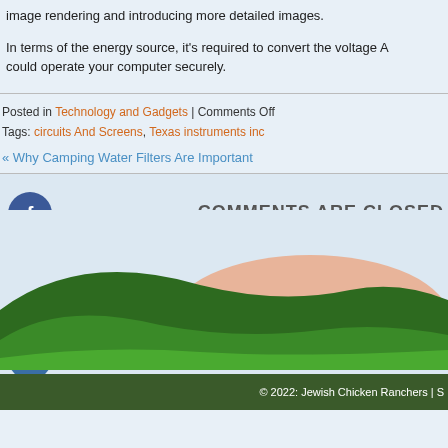image rendering and introducing more detailed images.
In terms of the energy source, it's required to convert the voltage A could operate your computer securely.
Posted in Technology and Gadgets | Comments Off
Tags: circuits And Screens, Texas instruments inc
« Why Camping Water Filters Are Important
COMMENTS ARE CLOSED.
[Figure (illustration): Rolling green hills landscape with a peach/salmon colored hill or sun-like shape in the background, decorative website footer illustration.]
© 2022: Jewish Chicken Ranchers | S